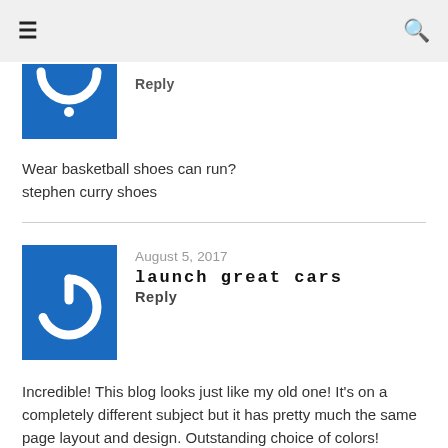≡  🔍
[Figure (screenshot): Blue square avatar with partial white arc/shape visible at bottom, cut off by page top]
Reply
Wear basketball shoes can run?
stephen curry shoes
[Figure (screenshot): Blue square avatar with white power button icon (circle with top gap and vertical line)]
August 5, 2017
launch great cars
Reply
Incredible! This blog looks just like my old one! It's on a completely different subject but it has pretty much the same page layout and design. Outstanding choice of colors!
[Figure (screenshot): Blue square avatar, partial, cut off at bottom of page]